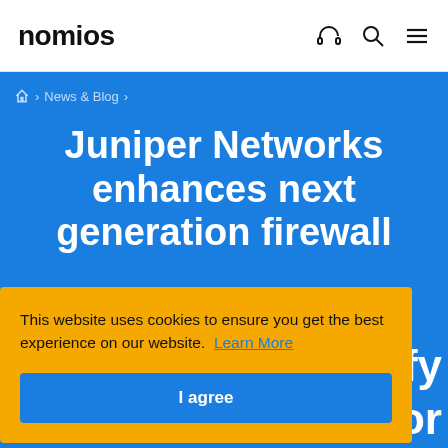nomios
News & Blog
Juniper Networks enhances next generation firewall
This website uses cookies to ensure you get the best experience on our website. Learn More
I agree